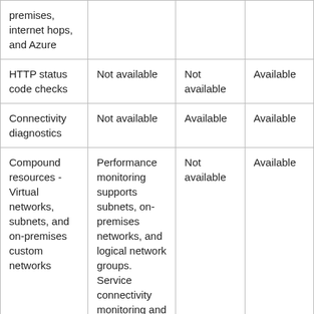| premises, internet hops, and Azure |  |  |  |
| HTTP status code checks | Not available | Not available | Available |
| Connectivity diagnostics | Not available | Available | Available |
| Compound resources - Virtual networks, subnets, and on-premises custom networks | Performance monitoring supports subnets, on-premises networks, and logical network groups. Service connectivity monitoring and Express Route support only | Not available | Available |